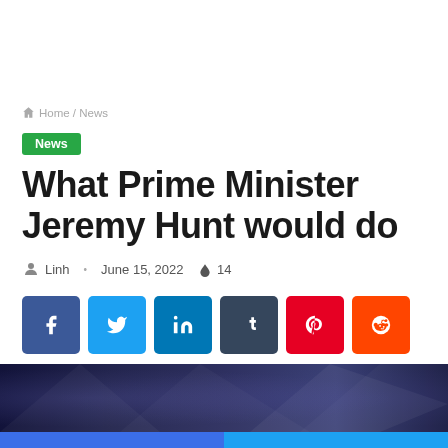Home / News
News
What Prime Minister Jeremy Hunt would do
Linh · June 15, 2022 🔥 14
[Figure (other): Social share buttons: Facebook, Twitter, LinkedIn, Tumblr, Pinterest, Reddit]
[Figure (photo): Dark blue abstract geometric background image]
[Figure (other): Bottom bar with Facebook and Twitter share icons]